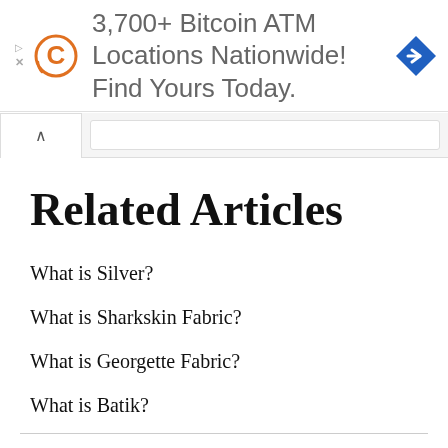[Figure (screenshot): Advertisement banner: Coinme logo (orange C in circle), text '3,700+ Bitcoin ATM Locations Nationwide! Find Yours Today.' in gray, blue diamond navigation arrow icon on right. Ad controls (play and close) on far left.]
Related Articles
What is Silver?
What is Sharkskin Fabric?
What is Georgette Fabric?
What is Batik?